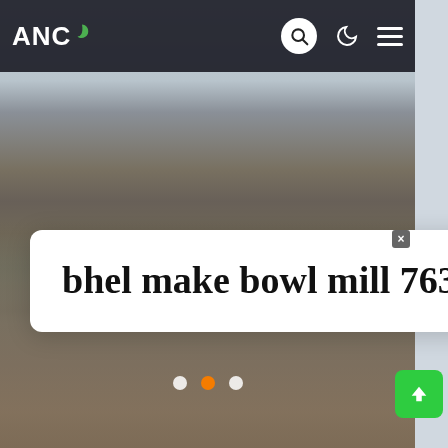[Figure (screenshot): Website screenshot showing ANC logo in top navigation bar with search, dark mode, and hamburger menu icons on a dark background. Main content area shows construction workers standing around equipment outdoors. A white overlay card reads 'bhel make bowl mill 763' in large serif font. A live chat bubble is visible in the upper right of the card. Carousel navigation dots (white, orange, white) are shown at the bottom. A green scroll-to-top button is in the bottom right.]